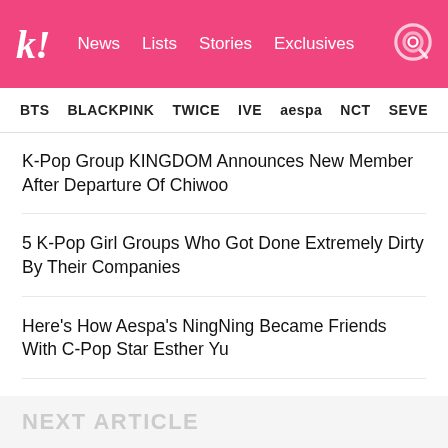k! News Lists Stories Exclusives
BTS BLACKPINK TWICE IVE aespa NCT SEVE
K-Pop Group KINGDOM Announces New Member After Departure Of Chiwoo
5 K-Pop Girl Groups Who Got Done Extremely Dirty By Their Companies
Here's How Aespa's NingNing Became Friends With C-Pop Star Esther Yu
BTS's V Celebrates Jungkook's Birthday By Releasing Footage Of The Highly Anticipated Sparring Match Between The Duo
Variety Magazine Accuses BLACKPINK Of Lip-Syncing During Their Performance At The 2022 VMAs, And Korean Netizens Are Not Having Any Of It
NEXT ARTICLE